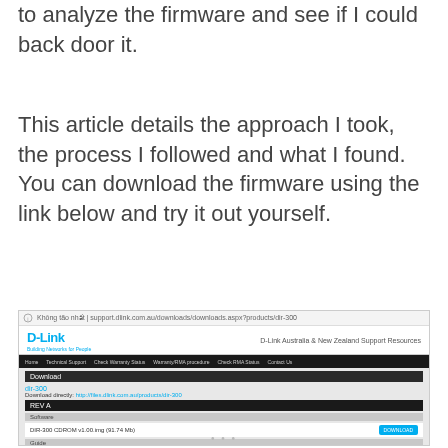to analyze the firmware and see if I could back door it.
This article details the approach I took, the process I followed and what I found. You can download the firmware using the link below and try it out yourself.
[Figure (screenshot): Screenshot of D-Link Australia & New Zealand Support Resources page showing download page for DIR-300, REV A firmware. File listed: DIR-300 CDROM v1.00.img (91.74 MB) with DOWNLOAD button. Guide section shows No DHWP Available.pdf (15.77 KB) with DOWNLOAD button.]